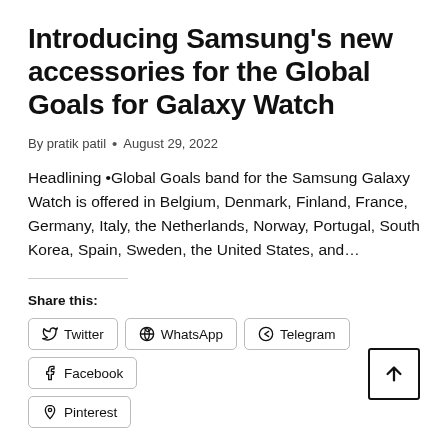Introducing Samsung's new accessories for the Global Goals for Galaxy Watch
By pratik patil • August 29, 2022
Headlining •Global Goals band for the Samsung Galaxy Watch is offered in Belgium, Denmark, Finland, France, Germany, Italy, the Netherlands, Norway, Portugal, South Korea, Spain, Sweden, the United States, and…
Share this:
Twitter | WhatsApp | Telegram | Facebook | Pinterest